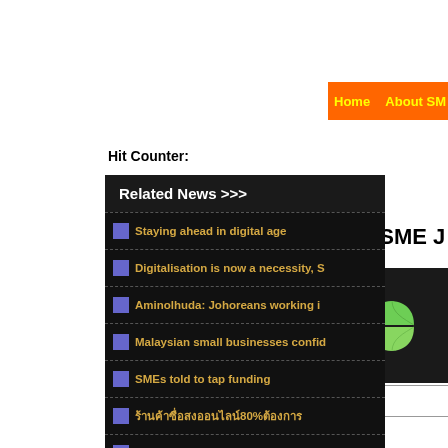Home   About SME J
Hit Counter:
Related News >>>
Staying ahead in digital age
Digitalisation is now a necessity, S
Aminolhuda: Johoreans working i
Malaysian small businesses confid
SMEs told to tap funding
80%
Budget 2019 Highlights
2019
130
130
SME J
[Figure (logo): Four-leaf green logo on dark background]